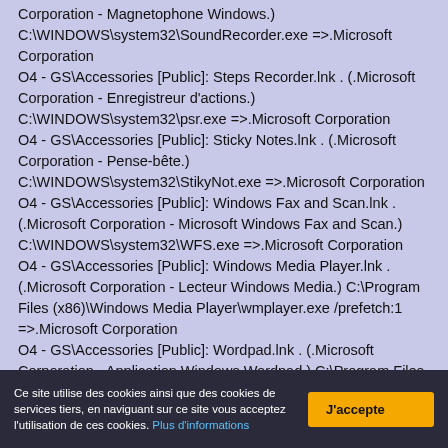Corporation - Magnetophone Windows.) C:\WINDOWS\system32\SoundRecorder.exe =>.Microsoft Corporation O4 - GS\Accessories [Public]: Steps Recorder.lnk . (.Microsoft Corporation - Enregistreur d'actions.) C:\WINDOWS\system32\psr.exe =>.Microsoft Corporation O4 - GS\Accessories [Public]: Sticky Notes.lnk . (.Microsoft Corporation - Pense-bête.) C:\WINDOWS\system32\StikyNot.exe =>.Microsoft Corporation O4 - GS\Accessories [Public]: Windows Fax and Scan.lnk . (.Microsoft Corporation - Microsoft Windows Fax and Scan.) C:\WINDOWS\system32\WFS.exe =>.Microsoft Corporation O4 - GS\Accessories [Public]: Windows Media Player.lnk . (.Microsoft Corporation - Lecteur Windows Media.) C:\Program Files (x86)\Windows Media Player\wmplayer.exe /prefetch:1 =>.Microsoft Corporation O4 - GS\Accessories [Public]: Wordpad.lnk . (.Microsoft Corporation - Application Windows Wordpad.) C:\Program Files (x86)\Windows NT\Accessories\wordpad.exe =>.Microsoft Corporation
Ce site utilise des cookies ainsi que des cookies de services tiers, en naviguant sur ce site vous acceptez l'utilisation de ces cookies. Plus d'informations